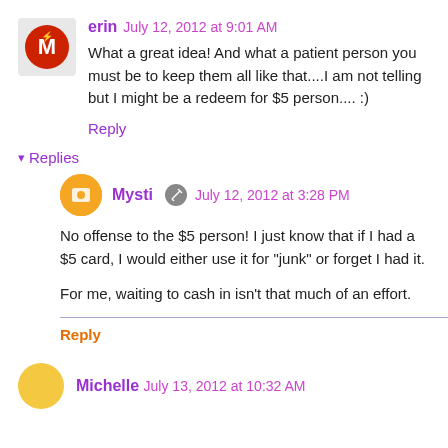erin  July 12, 2012 at 9:01 AM
What a great idea! And what a patient person you must be to keep them all like that....I am not telling but I might be a redeem for $5 person.... :)
Reply
Replies
Mysti  July 12, 2012 at 3:28 PM
No offense to the $5 person! I just know that if I had a $5 card, I would either use it for "junk" or forget I had it.
For me, waiting to cash in isn't that much of an effort.
Reply
Michelle  July 13, 2012 at 10:32 AM